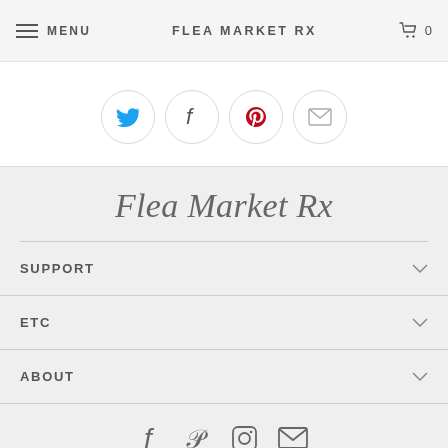MENU  FLEA MARKET RX  0
[Figure (infographic): Four circular social share buttons: Twitter (blue bird), Facebook (f), Pinterest (red P), Email (envelope)]
Flea Market Rx
SUPPORT
ETC
ABOUT
[Figure (infographic): Four social media icons in a row: Facebook, Pinterest, Instagram, Email]